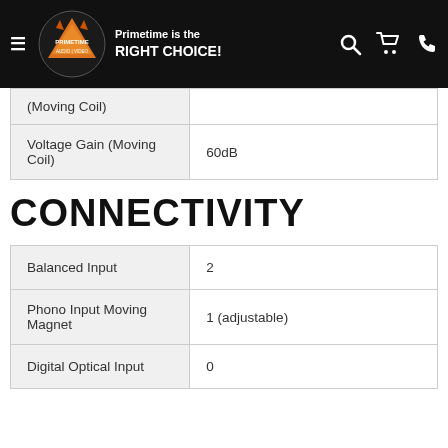Primetime is the RIGHT CHOICE! — Primetime Audio/Video
|  |  |
| --- | --- |
| (Moving Coil) |  |
| Voltage Gain (Moving Coil) | 60dB |
CONNECTIVITY
|  |  |
| --- | --- |
| Balanced Input | 2 |
| Phono Input Moving Magnet | 1 (adjustable) |
| Digital Optical Input | 0 |